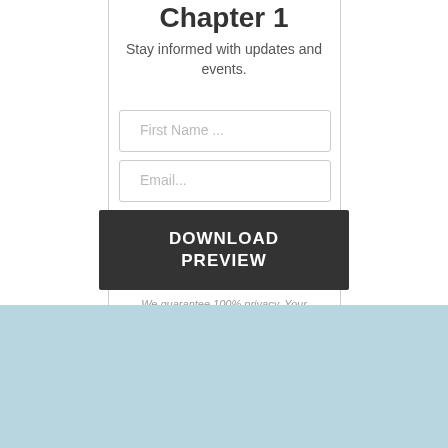Chapter 1
Stay informed with updates and events.
[Figure (screenshot): Form with First Name and Email input fields and a dark Download Preview button]
We guarantee 100% privacy. Your
[Figure (screenshot): Optinopoli overlay bar with logo, title, input fields and Subscribe button]
optinopoli™ - Grow Your List From Across the Web
We guarantee 100% privacy. Your information will not be shared.